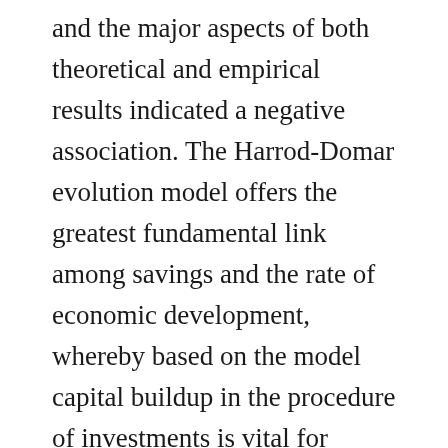and the major aspects of both theoretical and empirical results indicated a negative association. The Harrod-Domar evolution model offers the greatest fundamental link among savings and the rate of economic development, whereby based on the model capital buildup in the procedure of investments is vital for development. Outside debt is perceived as wealth assisting to close the financial gap in developing nations to promote economic progress, Eaton [7]. However, the literature has stated five canals via which exterior debt might influence progress negatively. Firstly, the obligation overhang